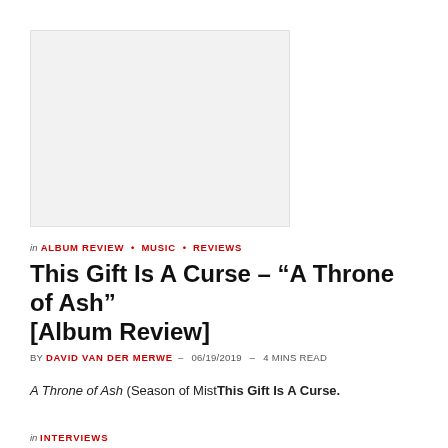[Figure (photo): Album cover or article header image placeholder (light gray rectangle)]
in ALBUM REVIEW · MUSIC · REVIEWS
This Gift Is A Curse – "A Throne of Ash" [Album Review]
BY DAVID VAN DER MERWE – 06/19/2019 – 4 MINS READ
A Throne of Ash (Season of MistThis Gift Is A Curse.
[Figure (photo): Second image placeholder (light gray rectangle)]
in INTERVIEWS